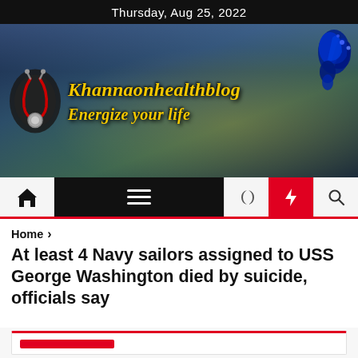Thursday, Aug 25, 2022
[Figure (screenshot): Khannaonhealthblog website banner with stethoscope logo, health-themed background (water bottle, fruits), medieval-style yellow text reading 'Khannaonhealthblog Energize your life', and decorative blue peacock/bird illustration in corner]
[Figure (screenshot): Website navigation bar with home icon, hamburger menu on black background, moon icon, red lightning bolt icon, and search icon]
Home >
At least 4 Navy sailors assigned to USS George Washington died by suicide, officials say
[Figure (screenshot): Bottom partial box with red bar decoration, partial article content area]